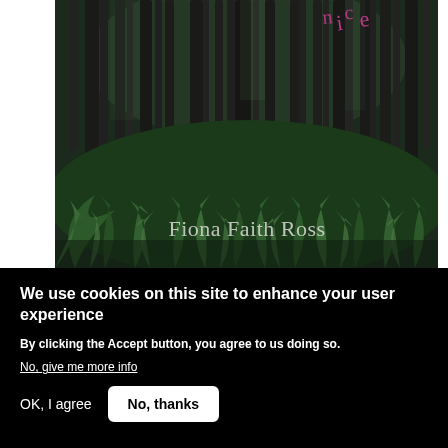[Figure (photo): A dark forest scene with tall pine trees and dense green ferns on the forest floor. The text 'Fiona Faith Ross' appears in light grey at the bottom center of the image. Pink/magenta handwritten text is partially visible in the top right corner.]
We use cookies on this site to enhance your user experience
By clicking the Accept button, you agree to us doing so.
No, give me more info
OK, I agree
No, thanks